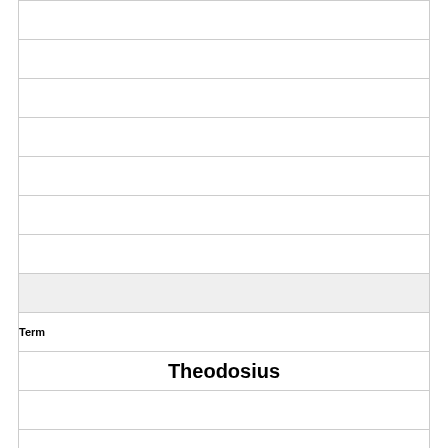|  |
|  |
|  |
|  |
|  |
|  |
|  |
| Term |
| Theodosius |
|  |
|  |
|  |
|  |
|  |
| Definition |